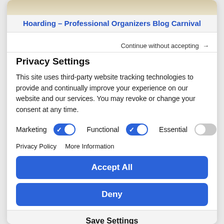[Figure (screenshot): Top banner image background (gradient tan/beige)]
Hoarding – Professional Organizers Blog Carnival
Continue without accepting →
Privacy Settings
This site uses third-party website tracking technologies to provide and continually improve your experience on our website and our services. You may revoke or change your consent at any time.
Marketing [toggle on] Functional [toggle on] Essential [toggle off]
Privacy Policy   More Information
Accept All
Deny
Save Settings
Powered by Usercentrics Consent Management